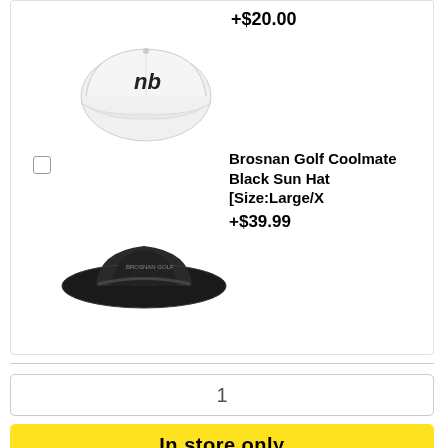+$20.00
[Figure (photo): White New Balance baseball cap on white background]
[Figure (photo): Black wide-brim golf sun hat on white background]
Brosnan Golf Coolmate Black Sun Hat [Size:Large/X +$39.99
1
In store only
FREE DELIVERY ON ALL ORDERS OVER $25